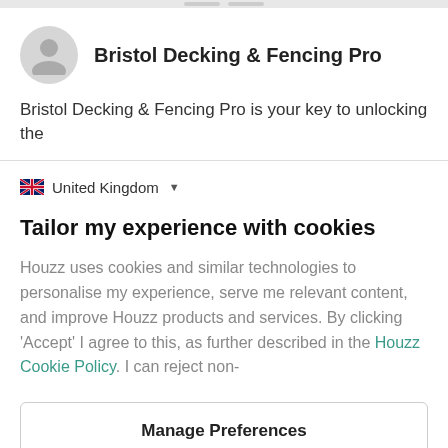[Figure (other): Profile avatar circle with silhouette icon]
Bristol Decking & Fencing Pro
Bristol Decking & Fencing Pro is your key to unlocking the
🇬🇧 United Kingdom ▾
Tailor my experience with cookies
Houzz uses cookies and similar technologies to personalise my experience, serve me relevant content, and improve Houzz products and services. By clicking 'Accept' I agree to this, as further described in the Houzz Cookie Policy. I can reject non-
Manage Preferences
Accept